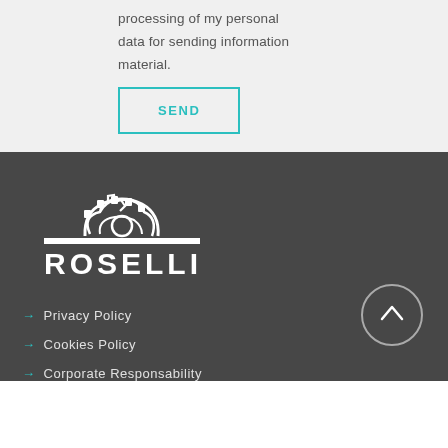processing of my personal data for sending information material.
SEND
[Figure (logo): Roselli company logo with gear icon on dark background]
→ Privacy Policy
→ Cookies Policy
→ Corporate Responsability